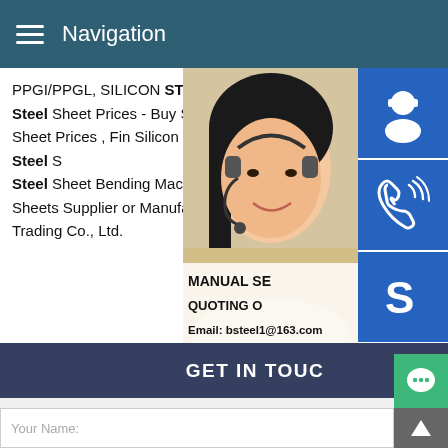Navigation
PPGI/PPGL, SILICON STEEL COIL,HRC sheetSilicon Steel Sheet Prices - Buy Silicon steel sheetSilicon Steel Sheet Prices , Find Silicon Steel Sheet Prices,Silicon Steel Steel Sheet Bending Machine,Cheap Cor Steel Sheets Supplier or Manufacturer-Sh International Trading Co., Ltd.
[Figure (photo): Woman with headset customer service representative]
[Figure (illustration): Customer support icon - headset person on blue background]
[Figure (illustration): Phone call icon on blue background]
[Figure (illustration): Skype icon on blue background]
MANUAL SE
QUOTING O
Email: bsteel1@163.com
GET IN TOUC
We receive enquiries in English, Español (Spanish). Our professional team will reply to you within one business day. Please feel FREE to contact us!
Your Name: